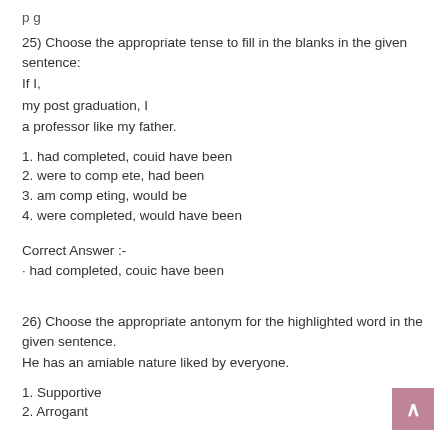25) Choose the appropriate tense to fill in the blanks in the given sentence:
If I,
my post graduation, I
a professor like my father.
1. had completed, couid have been
2. were to comp ete, had been
3. am comp eting, would be
4. were completed, would have been
Correct Answer :-
· had completed, couic have been
26) Choose the appropriate antonym for the highlighted word in the given sentence.
He has an amiable nature liked by everyone.
1. Supportive
2. Arrogant